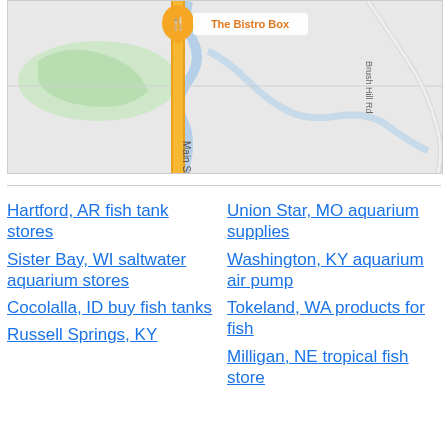[Figure (map): Google Maps screenshot showing a location pin for 'The Bistro Box' on a street, with a vertical orange road running north-south, a winding river/stream in blue, green park area on the left, and 'Brush Hill Rd' labeled on the right side.]
Hartford, AR fish tank stores
Sister Bay, WI saltwater aquarium stores
Cocolalla, ID buy fish tanks
Russell Springs, KY
Union Star, MO aquarium supplies
Washington, KY aquarium air pump
Tokeland, WA products for fish
Milligan, NE tropical fish store